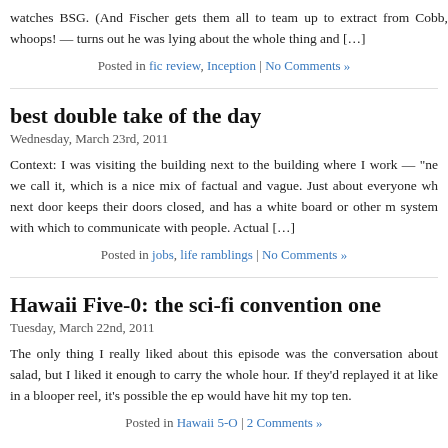watches BSG. (And Fischer gets them all to team up to extract from Cobb, whoops! — turns out he was lying about the whole thing and […]
Posted in fic review, Inception | No Comments »
best double take of the day
Wednesday, March 23rd, 2011
Context: I was visiting the building next to the building where I work — "ne we call it, which is a nice mix of factual and vague. Just about everyone wh next door keeps their doors closed, and has a white board or other m system with which to communicate with people. Actual […]
Posted in jobs, life ramblings | No Comments »
Hawaii Five-0: the sci-fi convention one
Tuesday, March 22nd, 2011
The only thing I really liked about this episode was the conversation about salad, but I liked it enough to carry the whole hour. If they'd replayed it at like in a blooper reel, it's possible the ep would have hit my top ten.
Posted in Hawaii 5-O | 2 Comments »